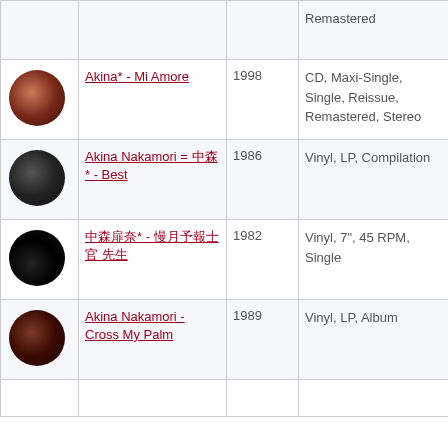| Image | Title | Year | Format |
| --- | --- | --- | --- |
| [img] | Remastered |  | Remastered |
| [img] | Akina* - Mi Amore | 1998 | CD, Maxi-Single, Single, Reissue, Remastered, Stereo |
| [img] | Akina Nakamori = ￼ ￼￼￼* - Best | 1986 | Vinyl, LP, Compilation |
| [img] | ￼￼￼￼* - ￼￼￼￼￼￼ ￼￼ | 1982 | Vinyl, 7", 45 RPM, Single |
| [img] | Akina Nakamori - Cross My Palm | 1989 | Vinyl, LP, Album |